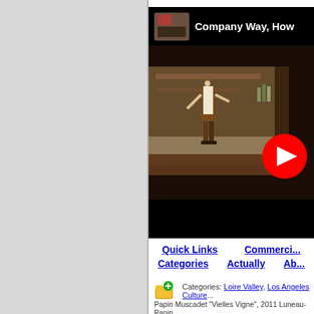[Figure (screenshot): YouTube video embed showing 'Company Way, How...' with a performer in vintage costume. The video thumbnail shows a man in a vest and cap gesturing on what appears to be a stage set. A red YouTube play button is visible in the lower right of the video frame.]
Quick Links   Commerci...
Categories   Actually   Ab...
[Figure (illustration): Small folder icon with green plus sign]
Categories: Loire Valley, Los Angeles Culture...
Papin Muscadet 'Vielles Vigne', 2011 Luneau-Papin...